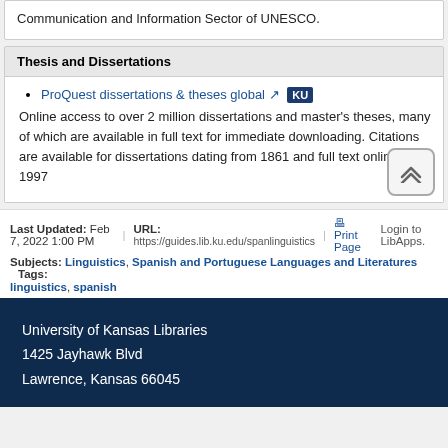Communication and Information Sector of UNESCO.
Thesis and Dissertations
ProQuest dissertations & theses global [KU]
Online access to over 2 million dissertations and master's theses, many of which are available in full text for immediate downloading. Citations are available for dissertations dating from 1861 and full text online from 1997
Last Updated: Feb 7, 2022 1:00 PM | URL: https://guides.lib.ku.edu/spanlinguistics | Print Page | Login to LibApps.
Subjects: Linguistics, Spanish and Portuguese Languages and Literatures Tags: linguistics, spanish
University of Kansas Libraries
1425 Jayhawk Blvd
Lawrence, Kansas 66045